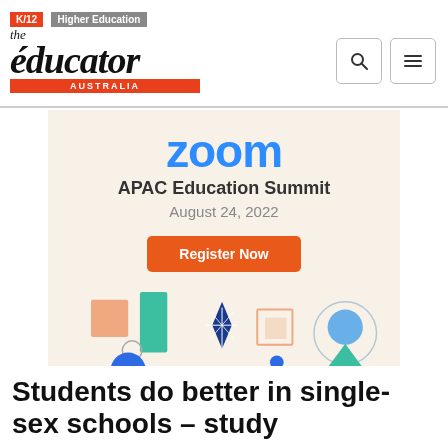K/12  Higher Education — the educator AUSTRALIA
[Figure (infographic): Zoom APAC Education Summit advertisement. Blue 'zoom' logo text, subtitle 'APAC Education Summit', date 'August 24, 2022', orange 'Register Now' button, and decorative geometric illustration with shapes in teal, orange, blue, and grey.]
Students do better in single-sex schools – study